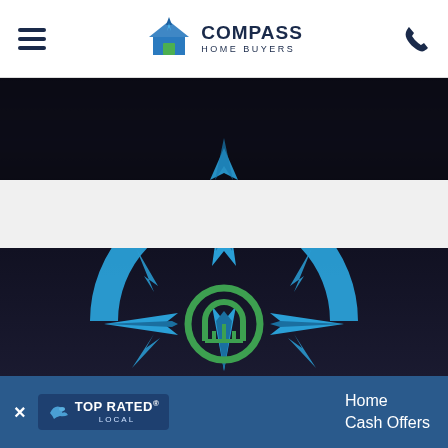Compass Home Buyers - navigation bar with hamburger menu, logo, and phone icon
[Figure (photo): Dark background hero section top showing partial view of a person in dark clothing, with a blue compass star point visible at bottom center]
[Figure (logo): Compass Home Buyers large logo/illustration — a blue compass rose with four cardinal star points and four diagonal arrow points, with a green circular house icon (arched door with vertical bars) in the center, displayed against a dark wood-paneled background]
[Figure (logo): Top Rated Local badge — dark blue badge with bird icon and TOP RATED LOCAL text in white and gold]
Home Cash Offers